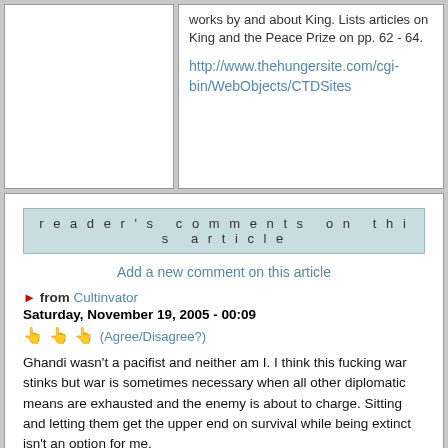works by and about King. Lists articles on King and the Peace Prize on pp. 62 - 64.
http://www.thehungersite.com/cgi-bin/WebObjects/CTDSites
reader's comments on this article
Add a new comment on this article
from Cultinvator
Saturday, November 19, 2005 - 00:09
(Agree/Disagree?)
Ghandi wasn't a pacifist and neither am I. I think this fucking war stinks but war is sometimes necessary when all other diplomatic means are exhausted and the enemy is about to charge. Sitting and letting them get the upper end on survival while being extinct isn't an option for me.
Peace at any cost isn't really peace it's a piece of shit subservient sacrificial sheep weak mentality of being a prey ready for slaughter.
On the other hand peace after the storm after things are settled... yes, that's true peace. Don't get me wrong, I'm no warmonger, but